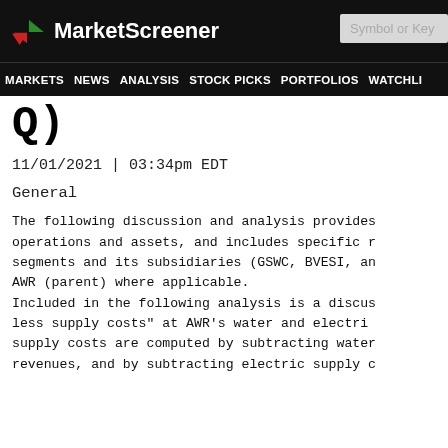MarketScreener | Symbol or Key
MARKETS NEWS ANALYSIS STOCK PICKS PORTFOLIOS WATCHLI
Q)
11/01/2021 | 03:34pm EDT
General
The following discussion and analysis provides operations and assets, and includes specific r segments and its subsidiaries (GSWC, BVESI, an AWR (parent) where applicable. Included in the following analysis is a discus less supply costs" at AWR's water and electri supply costs are computed by subtracting water revenues, and by subtracting electric supply c